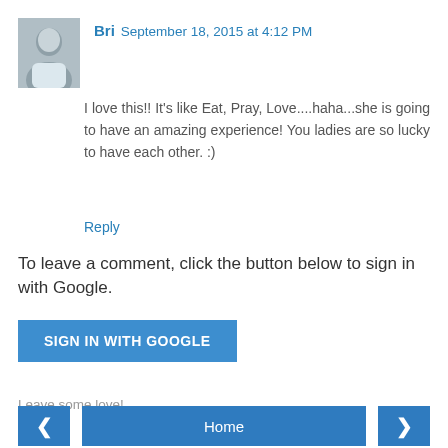[Figure (photo): Small avatar/profile photo of commenter Bri]
Bri September 18, 2015 at 4:12 PM
I love this!! It's like Eat, Pray, Love....haha...she is going to have an amazing experience! You ladies are so lucky to have each other. :)
Reply
To leave a comment, click the button below to sign in with Google.
SIGN IN WITH GOOGLE
Leave some love!
Home
View web version
Powered by Blogger.